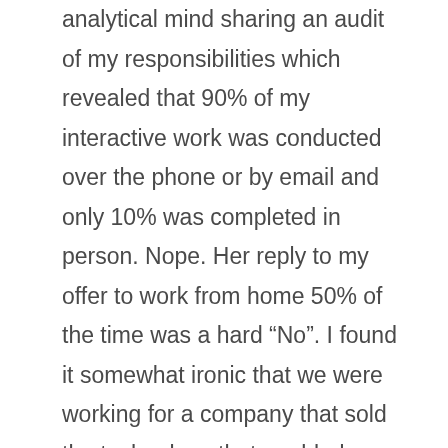analytical mind sharing an audit of my responsibilities which revealed that 90% of my interactive work was conducted over the phone or by email and only 10% was completed in person. Nope. Her reply to my offer to work from home 50% of the time was a hard “No”. I found it somewhat ironic that we were working for a company that sold the technology that enabled remote work.

Back to you. Let’s look at some of the concerns leaders have about people